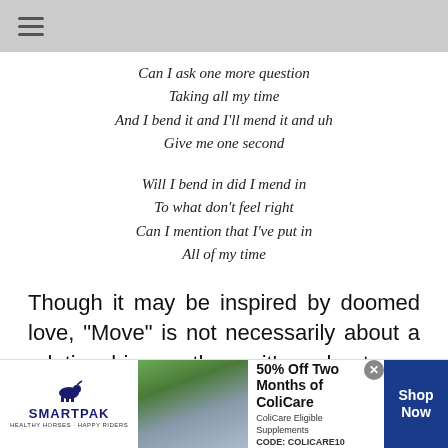Can I ask one more question
Taking all my time
And I bend it and I'll mend it and uh
Give me one second

Will I bend in did I mend in
To what don't feel right
Can I mention that I've put in
All of my time
Though it may be inspired by doomed love, “Move” is not necessarily about a relationship; rather, it’s about an individual recognizing, owning, and cherishing their personal truth.
[Figure (infographic): SmartPak advertisement banner: 50% Off Two Months of ColiCare, ColiCare Eligible Supplements, CODE: COLICARE10, Shop Now button]